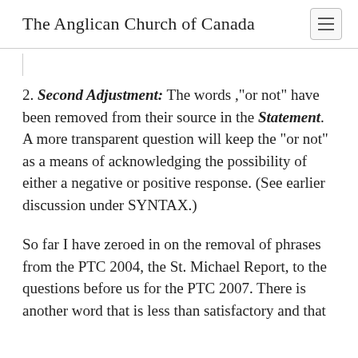The Anglican Church of Canada
2. Second Adjustment: The words, “or not” have been removed from their source in the Statement. A more transparent question will keep the “or not” as a means of acknowledging the possibility of either a negative or positive response. (See earlier discussion under SYNTAX.)
So far I have zeroed in on the removal of phrases from the PTC 2004, the St. Michael Report, to the questions before us for the PTC 2007. There is another word that is less than satisfactory and that